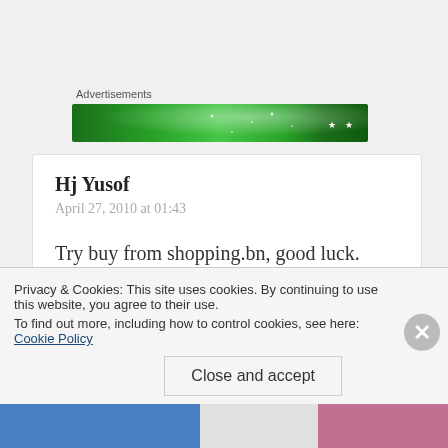Advertisements
[Figure (illustration): Green advertisement banner with sparkle/star effects]
Hj Yusof
April 27, 2010 at 01:43
Try buy from shopping.bn, good luck. Will never go back again, price is fine, no after sales service
Privacy & Cookies: This site uses cookies. By continuing to use this website, you agree to their use.
To find out more, including how to control cookies, see here: Cookie Policy
Close and accept